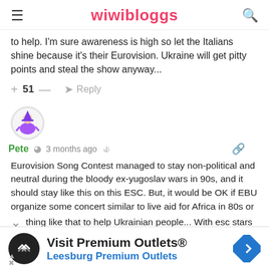wiwibloggs
to help. I'm sure awareness is high so let the Italians shine because it's their Eurovision. Ukraine will get pitty points and steal the show anyway...
+ 51 —  Reply
[Figure (illustration): User avatar for Pete — circular avatar with illustrated figure in purple dress]
Pete  3 months ago
Eurovision Song Contest managed to stay non-political and neutral during the bloody ex-yugoslav wars in 90s, and it should stay like this on this ESC. But, it would be OK if EBU organize some concert similar to live aid for Africa in 80s or  thing like that to help Ukrainian people... With esc stars
[Figure (infographic): Advertisement banner: Visit Premium Outlets® — Leesburg Premium Outlets, with black circular logo with double diamond chevron icon and blue diamond navigation icon]